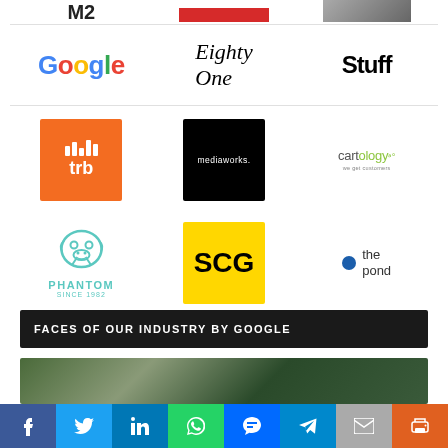[Figure (logo): Partially visible logos at top of page (M2, red logo, photo)]
[Figure (logo): Google logo in multicolor]
[Figure (logo): Eighty One script logo]
[Figure (logo): Stuff logo in bold serif]
[Figure (logo): TRB orange square logo with bar chart icon]
[Figure (logo): Mediaworks black square logo]
[Figure (logo): Cartology logo]
[Figure (logo): Phantom Since 1982 teal bulldog logo]
[Figure (logo): SCG yellow square logo]
[Figure (logo): The Pond logo with blue dot]
FACES OF OUR INDUSTRY BY GOOGLE
[Figure (photo): Partial photo of people, bottom of page]
[Figure (infographic): Social sharing bar: Facebook, Twitter, LinkedIn, WhatsApp, Messenger, Telegram, Email, Print]